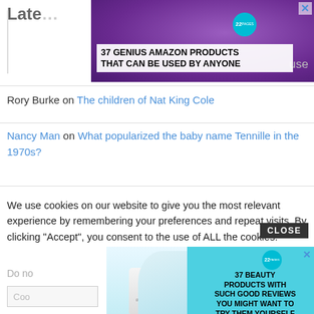[Figure (screenshot): Advertisement banner showing purple headphones with text '37 GENIUS AMAZON PRODUCTS THAT CAN BE USED BY ANYONE' and a teal circle with '22' logo]
Rory Burke on The children of Nat King Cole
Nancy Man on What popularized the baby name Tennille in the 1970s?
We use cookies on our website to give you the most relevant experience by remembering your preferences and repeat visits. By clicking “Accept”, you consent to the use of ALL the cookies.
Do no
[Figure (screenshot): Advertisement banner with teal background showing beauty products and text '37 BEAUTY PRODUCTS WITH SUCH GOOD REVIEWS YOU MIGHT WANT TO TRY THEM YOURSELF']